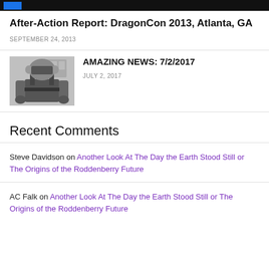[Figure (photo): Black banner with a blue rectangle logo, partial top of page]
After-Action Report: DragonCon 2013, Atlanta, GA
SEPTEMBER 24, 2013
[Figure (photo): Black and white photo of a person in costume with robot-like headgear]
AMAZING NEWS: 7/2/2017
JULY 2, 2017
Recent Comments
Steve Davidson on Another Look At The Day the Earth Stood Still or The Origins of the Roddenberry Future
AC Falk on Another Look At The Day the Earth Stood Still or The Origins of the Roddenberry Future